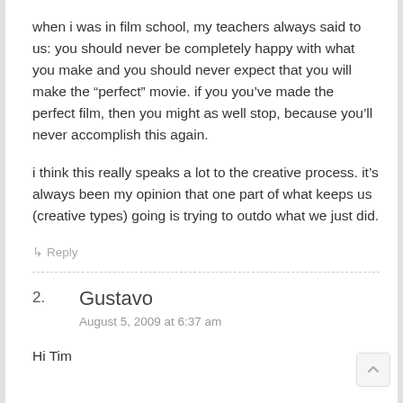when i was in film school, my teachers always said to us: you should never be completely happy with what you make and you should never expect that you will make the “perfect” movie. if you you've made the perfect film, then you might as well stop, because you'll never accomplish this again.
i think this really speaks a lot to the creative process. it's always been my opinion that one part of what keeps us (creative types) going is trying to outdo what we just did.
↳ Reply
2.
Gustavo
August 5, 2009 at 6:37 am
Hi Tim